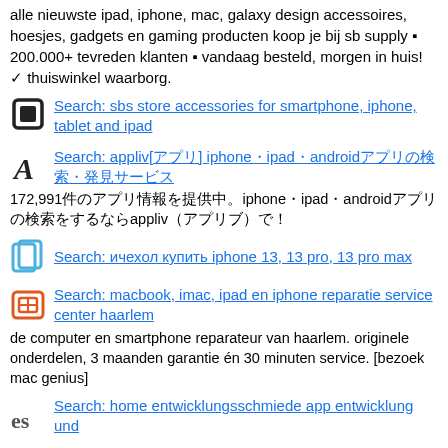alle nieuwste ipad, iphone, mac, galaxy design accessoires, hoesjes, gadgets en gaming producten koop je bij sb supply ▪ 200.000+ tevreden klanten ▪ vandaag besteld, morgen in huis! ✓ thuiswinkel waarborg.
Search: sbs store accessories for smartphone, iphone, tablet and ipad
Search: appliv[アプリ] iphone・ipad・androidアプリの検索・発見サービス 172,991件のアプリ情報を提供中。iphone・ipad・androidアプリの検索をするならappliv（アプリブ）で！
Search: ичехол купить iphone 13, 13 pro, 13 pro max
Search: macbook, imac, ipad en iphone reparatie service center haarlem
de computer en smartphone reparateur van haarlem. originele onderdelen, 3 maanden garantie én 30 minuten service. [bezoek mac genius]
Search: home entwicklungsschmiede app entwicklung und tablet lösungen für...